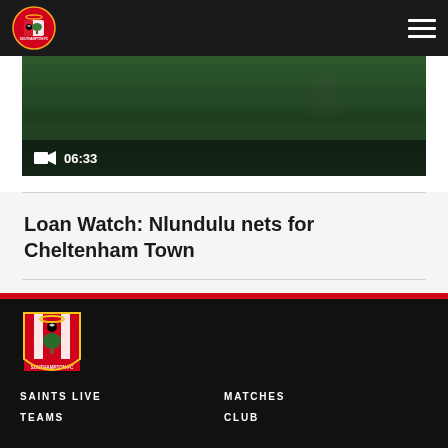Southampton FC
[Figure (screenshot): Video thumbnail showing football pitch, timer showing 06:33]
Loan Watch: Nlundulu nets for Cheltenham Town
U18 Highlights: Saints 3-0 Chelsea
[Figure (logo): Southampton FC crest in footer]
SAINTS LIVE    MATCHES    TEAMS    CLUB